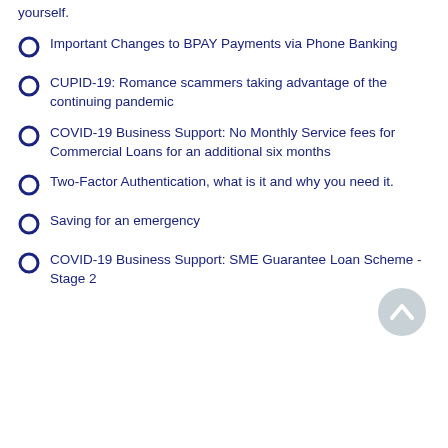yourself.
Important Changes to BPAY Payments via Phone Banking
CUPID-19: Romance scammers taking advantage of the continuing pandemic
COVID-19 Business Support: No Monthly Service fees for Commercial Loans for an additional six months
Two-Factor Authentication, what is it and why you need it.
Saving for an emergency
COVID-19 Business Support: SME Guarantee Loan Scheme - Stage 2